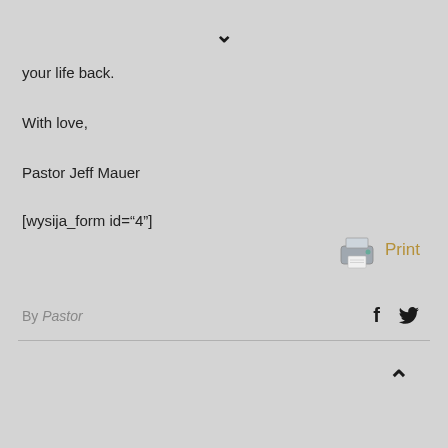[Figure (other): Downward chevron arrow icon at top center]
your life back.
With love,
Pastor Jeff Mauer
[wysija_form id="4"]
[Figure (other): Printer icon with Print label in gold/tan color]
By Pastor
[Figure (other): Facebook and Twitter social media icons]
[Figure (other): Upward chevron arrow icon at bottom right]